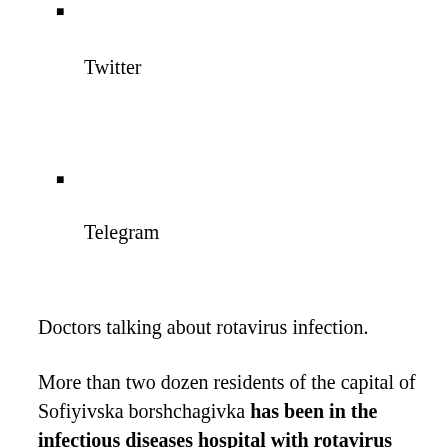Twitter
Telegram
Doctors talking about rotavirus infection.
More than two dozen residents of the capital of Sofiyivska borshchagivka has been in the infectious diseases hospital with rotavirus infection. The preliminary cause is called ordinary tap water, which has been launched in a number of residential complexes after the breakthrough of the pipe, according to a story TSN.19:30.
Adults among the sick units, the majority of patients, the babies. Parents bathed their children in water, so